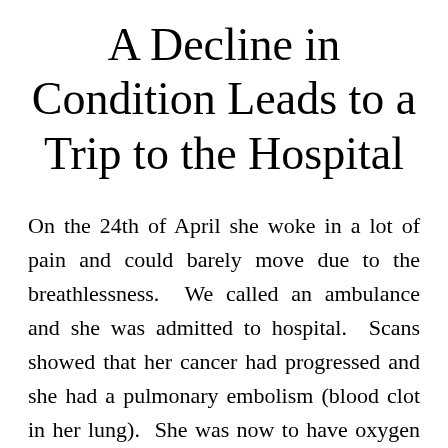A Decline in Condition Leads to a Trip to the Hospital
On the 24th of April she woke in a lot of pain and could barely move due to the breathlessness.  We called an ambulance and she was admitted to hospital.  Scans showed that her cancer had progressed and she had a pulmonary embolism (blood clot in her lung).  She was now to have oxygen permanently.  During the whole course of